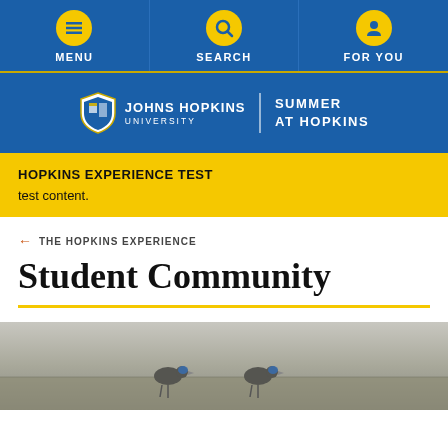MENU | SEARCH | FOR YOU
[Figure (logo): Johns Hopkins University logo with shield, text JOHNS HOPKINS UNIVERSITY | SUMMER AT HOPKINS on blue background]
HOPKINS EXPERIENCE TEST
test content.
← THE HOPKINS EXPERIENCE
Student Community
[Figure (photo): Black and white photo of two birds in a field, partially visible at bottom of page]